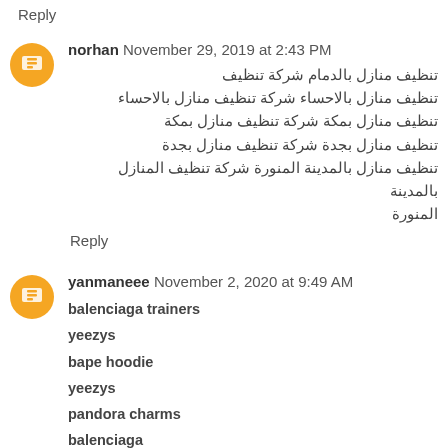Reply
norhan November 29, 2019 at 2:43 PM
تنظيف منازل بالدمام شركة تنظيف تنظيف منازل بالاحساء شركة تنظيف منازل بالاحساء تنظيف منازل بمكة شركة تنظيف منازل بمكة تنظيف منازل بجدة شركة تنظيف منازل بجدة تنظيف منازل بالمدينة المنورة شركة تنظيف المنازل بالمدينة المنورة
Reply
yanmaneee November 2, 2020 at 9:49 AM
balenciaga trainers
yeezys
bape hoodie
yeezys
pandora charms
balenciaga